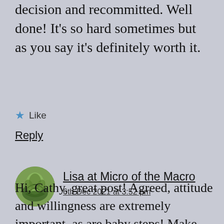decision and recommitted. Well done! It's so hard sometimes but as you say it's definitely worth it.
★ Like
Reply
Lisa at Micro of the Macro
6th Dec 2021 at 3:52 pm
Hi, Cathy, great post! Agreed, attitude and willingness are extremely important, as are baby steps! Make your week a good one! 🌼